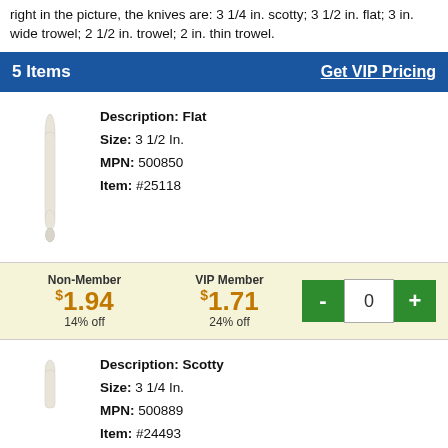right in the picture, the knives are: 3 1/4 in. scotty; 3 1/2 in. flat; 3 in. wide trowel; 2 1/2 in. trowel; 2 in. thin trowel.
5 Items   Get VIP Pricing
[Figure (photo): A flat palette knife, white/cream colored, approximately 3 1/2 inches]
Description: Flat
Size: 3 1/2 In.
MPN: 500850
Item: #25118
| Non-Member | VIP Member | Qty |
| --- | --- | --- |
| $1.94
14% off | $1.71
24% off | - 0 + |
[Figure (photo): A scotty palette knife, partially visible]
Description: Scotty
Size: 3 1/4 In.
MPN: 500889
Item: #24493